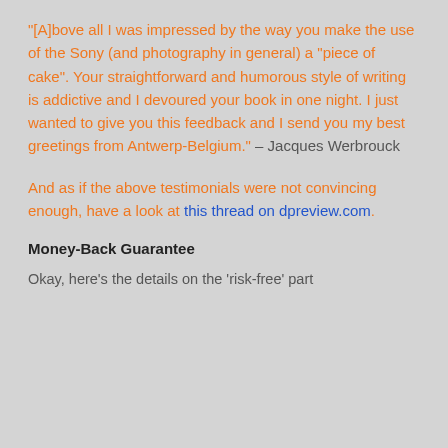"[A]bove all I was impressed by the way you make the use of the Sony (and photography in general) a “piece of cake”. Your straightforward and humorous style of writing is addictive and I devoured your book in one night. I just wanted to give you this feedback and I send you my best greetings from Antwerp-Belgium.” – Jacques Werbrouck
And as if the above testimonials were not convincing enough, have a look at this thread on dpreview.com.
Money-Back Guarantee
Okay, here’s the details on the ‘risk-free’ part